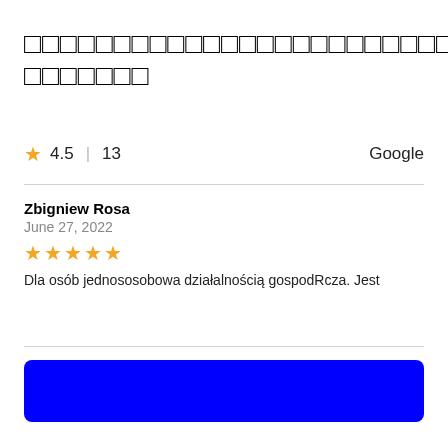□□□□□□□□□□□□□□□□□□□□□□□□□□□□□□□□□□□□□□□□□□□□□□□□ □□□□
★ 4.5 | 13   Google
Zbigniew Rosa
June 27, 2022
★★★★★
Dla osób jednososobowa działalnością gospodRcza. Jest
[Figure (other): Solid blue rounded rectangle button]